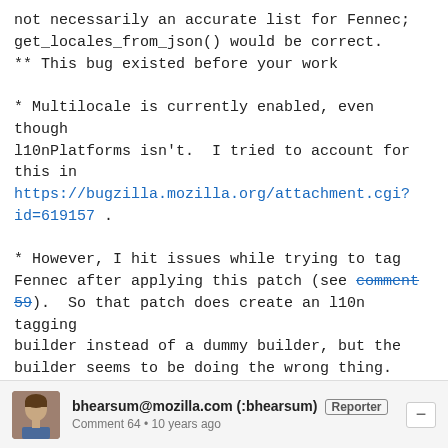not necessarily an accurate list for Fennec;
get_locales_from_json() would be correct.
** This bug existed before your work

* Multilocale is currently enabled, even though
l10nPlatforms isn't.  I tried to account for
this in
https://bugzilla.mozilla.org/attachment.cgi?id=619157 .

* However, I hit issues while trying to tag
Fennec after applying this patch (see comment 59).  So that patch does create an l10n tagging
builder instead of a dummy builder, but the
builder seems to be doing the wrong thing.
** This may be a side effect of an empty json
changeset file on beta?
bhearsum@mozilla.com (:bhearsum)  Reporter
Comment 64 • 10 years ago